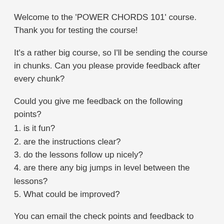Welcome to the 'POWER CHORDS 101' course. Thank you for testing the course!
It's a rather big course, so I'll be sending the course in chunks. Can you please provide feedback after every chunk?
Could you give me feedback on the following points?
1. is it fun?
2. are the instructions clear?
3. do the lessons follow up nicely?
4. are there any big jumps in level between the lessons?
5. What could be improved?
You can email the check points and feedback to merelbechtold@gmail.com